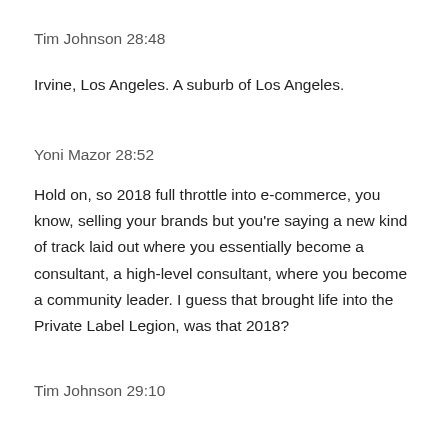Tim Johnson 28:48
Irvine, Los Angeles. A suburb of Los Angeles.
Yoni Mazor 28:52
Hold on, so 2018 full throttle into e-commerce, you know, selling your brands but you're saying a new kind of track laid out where you essentially become a consultant, a high-level consultant, where you become a community leader. I guess that brought life into the Private Label Legion, was that 2018?
Tim Johnson 29:10